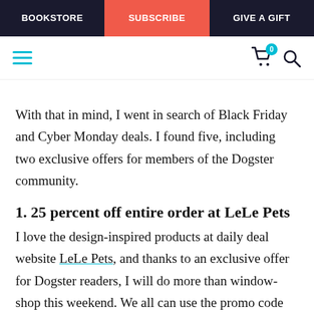BOOKSTORE | SUBSCRIBE | GIVE A GIFT
[Figure (screenshot): Navigation toolbar with hamburger menu (teal), shopping cart icon with badge showing 0, and search icon]
With that in mind, I went in search of Black Friday and Cyber Monday deals. I found five, including two exclusive offers for members of the Dogster community.
1. 25 percent off entire order at LeLe Pets
I love the design-inspired products at daily deal website LeLe Pets, and thanks to an exclusive offer for Dogster readers, I will do more than window-shop this weekend. We all can use the promo code "Dogster" during checkout Friday, Nov. 23, through